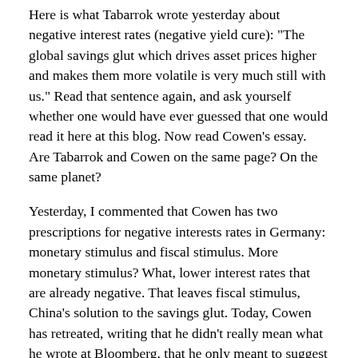Here is what Tabarrok wrote yesterday about negative interest rates (negative yield cure): "The global savings glut which drives asset prices higher and makes them more volatile is very much still with us." Read that sentence again, and ask yourself whether one would have ever guessed that one would read it here at this blog. Now read Cowen's essay. Are Tabarrok and Cowen on the same page? On the same planet?
Yesterday, I commented that Cowen has two prescriptions for negative interests rates in Germany: monetary stimulus and fiscal stimulus. More monetary stimulus? What, lower interest rates that are already negative. That leaves fiscal stimulus, China's solution to the savings glut. Today, Cowen has retreated, writing that he didn't really mean what he wrote at Bloomberg, that he only meant to suggest Germany fix the roads.
"The global savings glut which drives asset prices higher and makes them more volatile is very much still with us." Read it again. And again. Closely. America's answer to the savings glut was, first, to be the world's consumer. And consume we did. Until even America couldn't consume enough. America's current account...